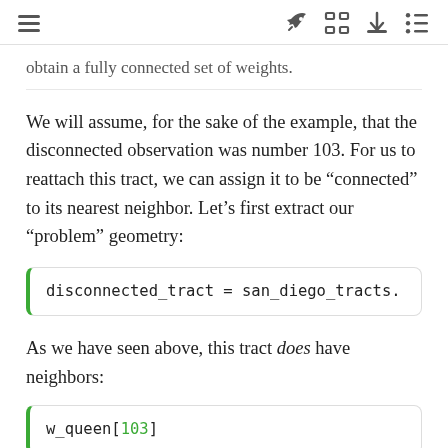≡  [rocket icon] [expand icon] [download icon] [list icon]
obtain a fully connected set of weights.
We will assume, for the sake of the example, that the disconnected observation was number 103. For us to reattach this tract, we can assign it to be "connected" to its nearest neighbor. Let's first extract our "problem" geometry:
As we have seen above, this tract does have neighbors: